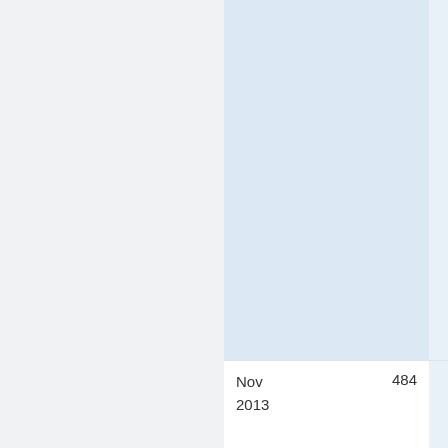| Date | Value1 | Value2 |
| --- | --- | --- |
|  |  |  |
| Nov 2013 | 484 | 0 |
| Oct 2013 | 428 | 0 |